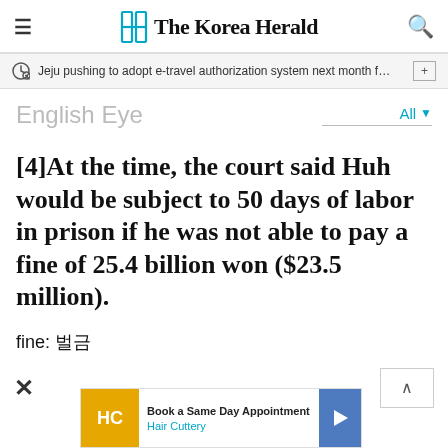The Korea Herald
Jeju pushing to adopt e-travel authorization system next month f…
English Eye
[4]At the time, the court said Huh would be subject to 50 days of labor in prison if he was not able to pay a fine of 25.4 billion won ($23.5 million).
fine: 벌금
[Figure (other): Advertisement banner for Hair Cuttery: Book a Same Day Appointment]